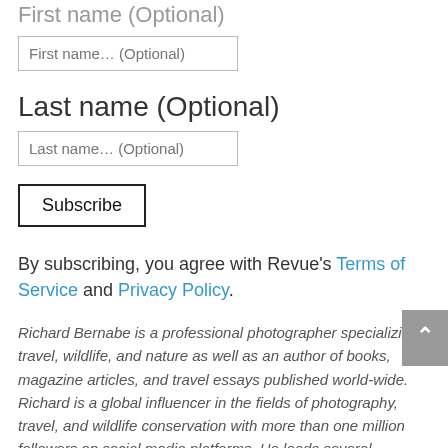First name (Optional)
First name… (Optional)
Last name (Optional)
Last name… (Optional)
Subscribe
By subscribing, you agree with Revue's Terms of Service and Privacy Policy.
Richard Bernabe is a professional photographer specializing in travel, wildlife, and nature as well as an author of books, magazine articles, and travel essays published world-wide. Richard is a global influencer in the fields of photography, travel, and wildlife conservation with more than one million followers on social media platforms. He leads several photography tours and workshops all over the world and is invited to speak to photography and conservation